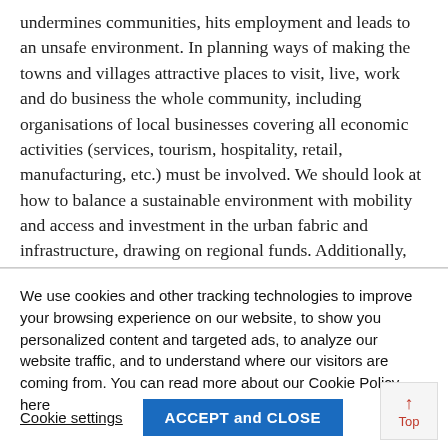undermines communities, hits employment and leads to an unsafe environment. In planning ways of making the towns and villages attractive places to visit, live, work and do business the whole community, including organisations of local businesses covering all economic activities (services, tourism, hospitality, retail, manufacturing, etc.) must be involved. We should look at how to balance a sustainable environment with mobility and access and investment in the urban fabric and infrastructure, drawing on regional funds. Additionally, we propose the setting up of a [partial line cut off]
We use cookies and other tracking technologies to improve your browsing experience on our website, to show you personalized content and targeted ads, to analyze our website traffic, and to understand where our visitors are coming from. You can read more about our Cookie Policy here